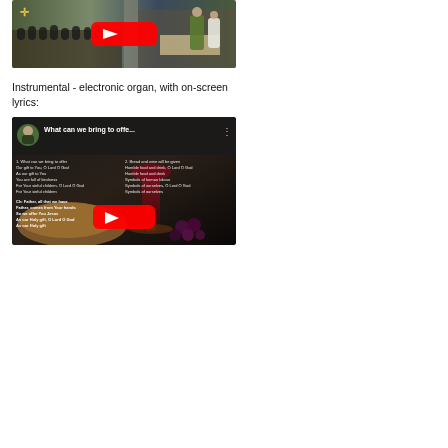[Figure (screenshot): YouTube video thumbnail showing a church interior with a congregation and priest at the altar, with a YouTube play button overlay]
Instrumental - electronic organ, with on-screen lyrics:
[Figure (screenshot): YouTube video thumbnail titled 'What can we bring to offe...' showing lyrics overlay on left side with bread and wine image, and a YouTube play button overlay]